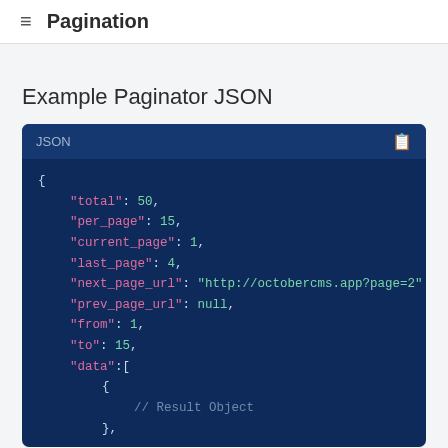≡ Pagination
Example Paginator JSON
[Figure (screenshot): Code block showing JSON with label 'JSON' and clipboard icon. Contains a JSON object with fields: total: 50, per_page: 15, current_page: 1, last_page: 4, next_page_url: "http://octobercms.app?page=2", prev_page_url: null, from: 1, to: 15, data:[ { // Result Object },]